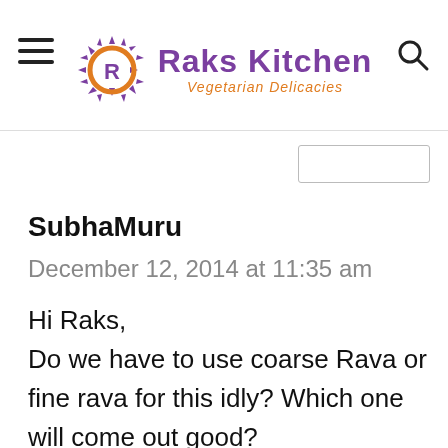Raks Kitchen – Vegetarian Delicacies
[Figure (screenshot): Search box input field, partially visible]
SubhaMuru
December 12, 2014 at 11:35 am
Hi Raks,
Do we have to use coarse Rava or fine rava for this idly? Which one will come out good?